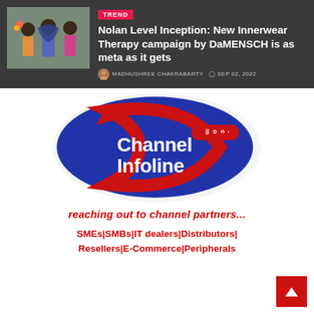[Figure (screenshot): Dark banner with a photo of three people holding clothes, a TREND badge, article title, author and date]
TREND
Nolan Level Inception: New Innerwear Therapy campaign by DaMENSCH is as meta as it gets
MADHUSHREE CHAKRABARTY  SEP 02, 2022
[Figure (logo): Channel Infoline .com logo — blue oval with red swoosh and white text]
reaching out to channel partners...
SMEs|SMBs|IT dealers|Distributors|Resellers|E-Commerce|Peripherals